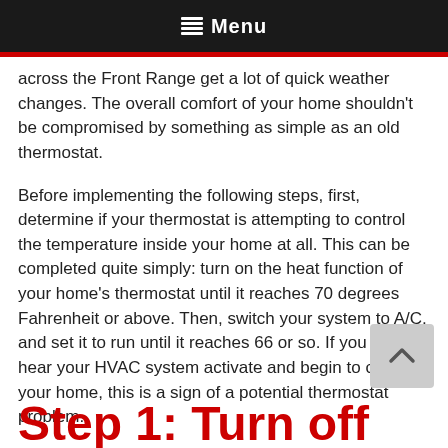Menu
across the Front Range get a lot of quick weather changes. The overall comfort of your home shouldn't be compromised by something as simple as an old thermostat.
Before implementing the following steps, first, determine if your thermostat is attempting to control the temperature inside your home at all. This can be completed quite simply: turn on the heat function of your home's thermostat until it reaches 70 degrees Fahrenheit or above. Then, switch your system to A/C, and set it to run until it reaches 66 or so. If you do not hear your HVAC system activate and begin to cool your home, this is a sign of a potential thermostat problem.
Step 1: Turn off